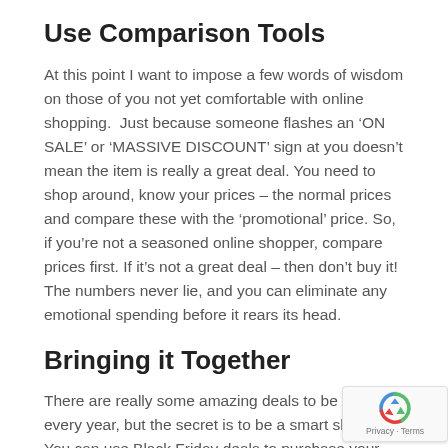Use Comparison Tools
At this point I want to impose a few words of wisdom on those of you not yet comfortable with online shopping.  Just because someone flashes an ‘ON SALE’ or ‘MASSIVE DISCOUNT’ sign at you doesn’t mean the item is really a great deal. You need to shop around, know your prices – the normal prices and compare these with the ‘promotional’ price. So, if you’re not a seasoned online shopper, compare prices first. If it’s not a great deal – then don’t buy it! The numbers never lie, and you can eliminate any emotional spending before it rears its head.
Bringing it Together
There are really some amazing deals to be had every year, but the secret is to be a smart shopper. You can use Black Friday deals to purchase your family Christmas gifts, your holiday reading list or